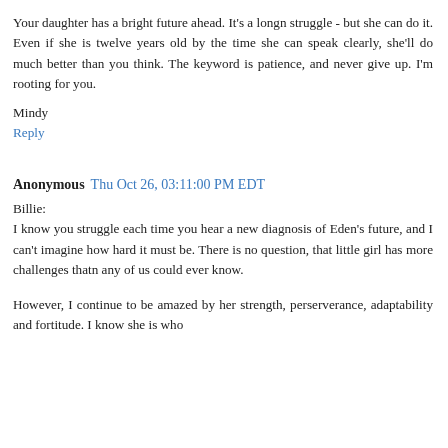lives. she was mainstreamed in school although she didn't really learn much and never took any tests.
Your daughter has a bright future ahead. It's a longn struggle - but she can do it. Even if she is twelve years old by the time she can speak clearly, she'll do much better than you think. The keyword is patience, and never give up. I'm rooting for you.
Mindy
Reply
Anonymous  Thu Oct 26, 03:11:00 PM EDT
Billie:
I know you struggle each time you hear a new diagnosis of Eden's future, and I can't imagine how hard it must be. There is no question, that little girl has more challenges thatn any of us could ever know.
However, I continue to be amazed by her strength, perserverance, adaptability and fortitude. I know she is who